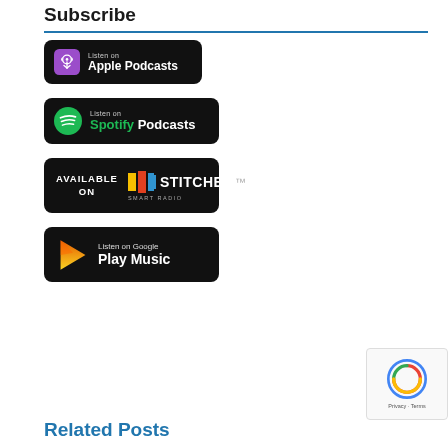Subscribe
[Figure (logo): Listen on Apple Podcasts badge — black rounded rectangle with Apple Podcasts purple icon and white text]
[Figure (logo): Listen on Spotify Podcasts badge — black rounded rectangle with Spotify green circle icon, green Spotify text and white Podcasts text]
[Figure (logo): Available on Stitcher Smart Radio badge — black rounded rectangle with colored squares icon and white STITCHER text]
[Figure (logo): Listen on Google Play Music badge — black rounded rectangle with colorful Google Play triangle icon and white text]
Related Posts